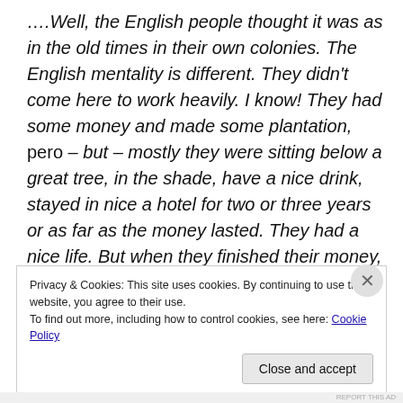….Well, the English people thought it was as in the old times in their own colonies. The English mentality is different. They didn't come here to work heavily. I know! They had some money and made some plantation, pero – but – mostly they were sitting below a great tree, in the shade, have a nice drink, stayed in nice a hotel for two or three years or as far as the money lasted. They had a nice life. But when they finished their money, they went away, sold their plantations. Those plantations were new ones, which they had to sell cheap. They sold to many people in
Privacy & Cookies: This site uses cookies. By continuing to use this website, you agree to their use.
To find out more, including how to control cookies, see here: Cookie Policy

Close and accept
REPORT THIS AD